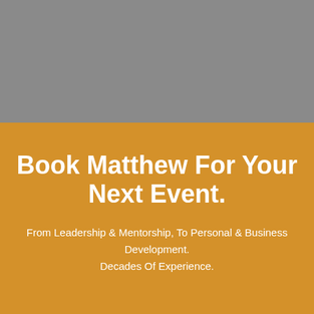[Figure (photo): Gray background upper section, likely a photo placeholder or image area]
Book Matthew For Your Next Event.
From Leadership & Mentorship, To Personal & Business Development.
Decades Of Experience.